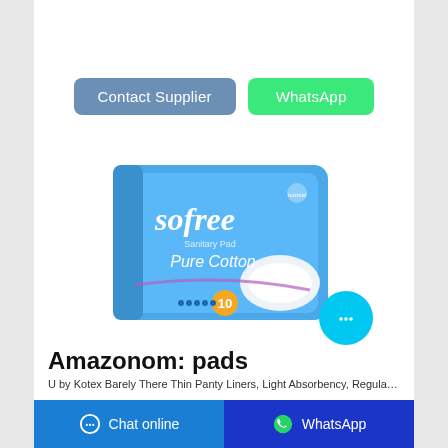[Figure (screenshot): Two buttons side by side: blue 'Contact Supplier' and green 'WhatsApp']
[Figure (photo): Product photo of Sofree Pure Cotton sanitary pad package, blue packaging, count of 10]
Amazonom: pads
U by Kotex Barely There Thin Panty Liners, Light Absorbency, Regular Length, Unscented
Chat online   WhatsApp